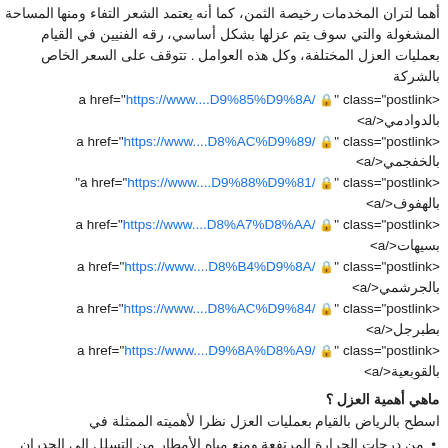أهما لتران المخدمات رخيصة الثمن، كما أنه يعتمد الشعر التفاء ومنها المساحة المشغولة والتي سوف يتم عزلها بشكل أساسي، رقة الفنيين في القيام بعمليات العزل المختلفة، وكل هذه العوامل . تتوقف على السعر الخاص بالشركة
<a href="https://www....D9%85%D9%8A/" class="postlink بالدوادمي</a>
<a href="https://www....D8%AC%D9%89/" class="postlink بالخفجمي</a>
<a href="https://www....D9%88%D9%81/" class="postlink بالهفوف</a>
<a href="https://www....D8%A7%D8%AA/" class="postlink بسيهات</a>
<a href="https://www....D8%B4%D9%8A/" class="postlink بالجرشي</a>
<a href="https://www....D8%AC%D9%84/" class="postlink بطبرجل</a>
<a href="https://www....D9%8A%D8%A9/" class="postlink بالقوبعية</a>
ماهي أهمية العزل ؟
اسطح بالرياض بالقيام بعمليات العزل نظرا لأهميته الممثلة في
من درجات الحرارة المرتفعة ومنع مياه الأمطار من التسلل إلى الجدران والأسقف.
اعد العزل على تقليل الحرارة في المنزل بسبب أشعة الشمس
استهلاك الكهرباء الشخصي بسبب الاستخدام المتكرر مكيفات الهواء والمراوح في المنزل
الإنفاق المالي الكبير الذي يعد استثمارا طويل مدى لصالح...